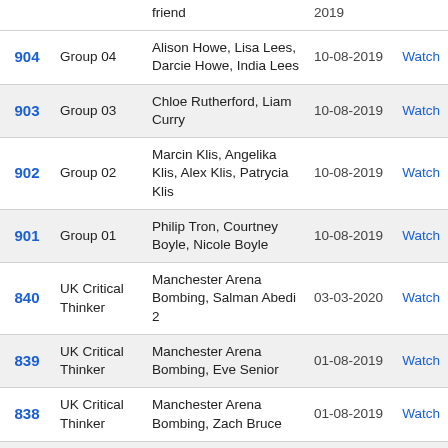| # | Group | Names | Date |  |
| --- | --- | --- | --- | --- |
|  |  | friend | 2019 |  |
| 904 | Group 04 | Alison Howe, Lisa Lees, Darcie Howe, India Lees | 10-08-2019 | Watch |
| 903 | Group 03 | Chloe Rutherford, Liam Curry | 10-08-2019 | Watch |
| 902 | Group 02 | Marcin Klis, Angelika Klis, Alex Klis, Patrycia Klis | 10-08-2019 | Watch |
| 901 | Group 01 | Philip Tron, Courtney Boyle, Nicole Boyle | 10-08-2019 | Watch |
| 840 | UK Critical Thinker | Manchester Arena Bombing, Salman Abedi 2 | 03-03-2020 | Watch |
| 839 | UK Critical Thinker | Manchester Arena Bombing, Eve Senior | 01-08-2019 | Watch |
| 838 | UK Critical Thinker | Manchester Arena Bombing, Zach Bruce | 01-08-2019 | Watch |
| 837 | UK Critical Thinker | Manchester Arena Bombing, Will the inquest cover this? | 01-08-2019 | Watch |